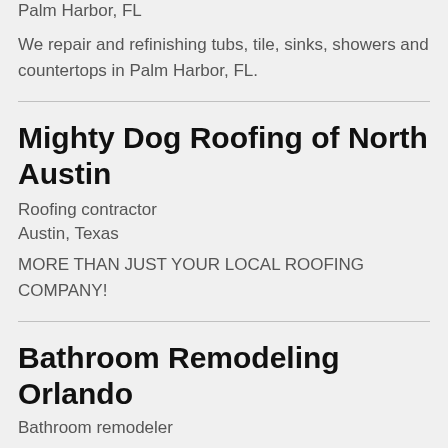Palm Harbor, FL
We repair and refinishing tubs, tile, sinks, showers and countertops in Palm Harbor, FL.
Mighty Dog Roofing of North Austin
Roofing contractor
Austin, Texas
MORE THAN JUST YOUR LOCAL ROOFING COMPANY!
Bathroom Remodeling Orlando
Bathroom remodeler